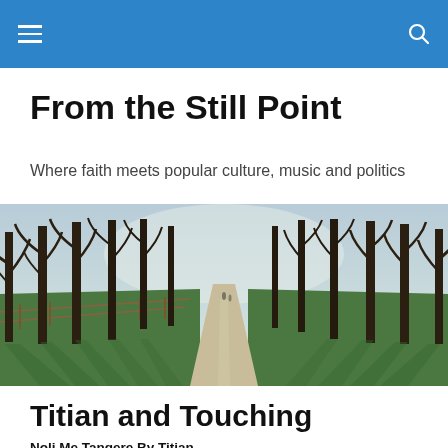From the Still Point
Where faith meets popular culture, music and politics
[Figure (photo): A tree-lined path or avenue in a park, with bare winter trees casting long shadows on green grass, and a misty path leading into the distance. A wooden fence is visible on the left side.]
Titian and Touching
Noli Me Tangere By Titian
This was painted around 1514 and hangs in the National Gallery in London